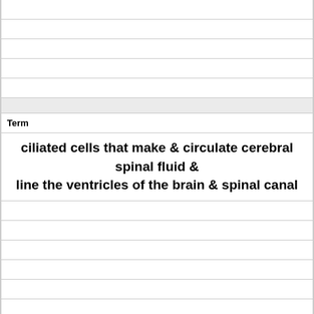Term
ciliated cells that make & circulate cerebral spinal fluid & line the ventricles of the brain & spinal canal
Definition
ependymal cells